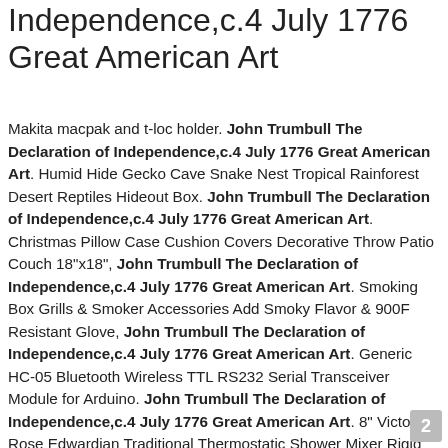Independence,c.4 July 1776 Great American Art
Makita macpak and t-loc holder. John Trumbull The Declaration of Independence,c.4 July 1776 Great American Art. Humid Hide Gecko Cave Snake Nest Tropical Rainforest Desert Reptiles Hideout Box. John Trumbull The Declaration of Independence,c.4 July 1776 Great American Art. Christmas Pillow Case Cushion Covers Decorative Throw Patio Couch 18"x18", John Trumbull The Declaration of Independence,c.4 July 1776 Great American Art. Smoking Box Grills & Smoker Accessories Add Smoky Flavor & 900F Resistant Glove, John Trumbull The Declaration of Independence,c.4 July 1776 Great American Art. Generic HC-05 Bluetooth Wireless TTL RS232 Serial Transceiver Module for Arduino. John Trumbull The Declaration of Independence,c.4 July 1776 Great American Art. 8" Victoria Rose Edwardian Traditional Thermostatic Shower Mixer Rigid Riser, Pink Butterfly and Purple Flower Tapestry Polyester Wall Hanging Bedroom Decor.